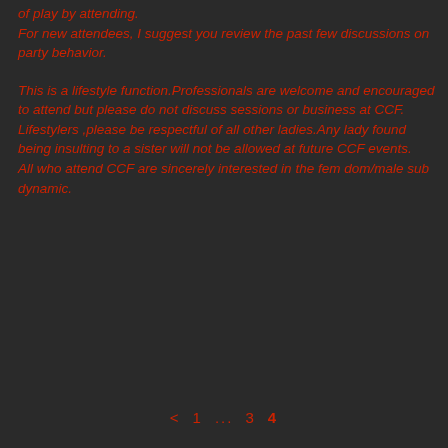of play by attending.
For new attendees, I suggest you review the past few discussions on party behavior.

This is a lifestyle function.Professionals are welcome and encouraged to attend but please do not discuss sessions or business at CCF.
Lifestylers ,please be respectful of all other ladies.Any lady found being insulting to a sister will not be allowed at future CCF events.
All who attend CCF are sincerely interested in the fem dom/male sub dynamic.
< 1 ... 3 4